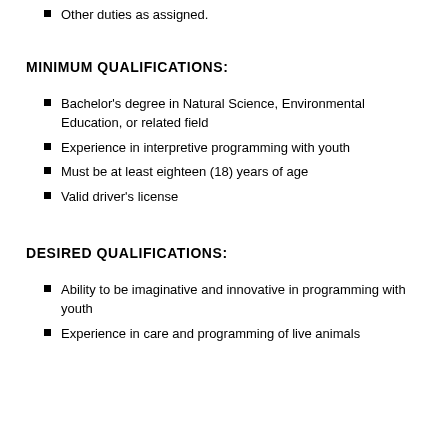Other duties as assigned.
MINIMUM QUALIFICATIONS:
Bachelor's degree in Natural Science, Environmental Education, or related field
Experience in interpretive programming with youth
Must be at least eighteen (18) years of age
Valid driver's license
DESIRED QUALIFICATIONS:
Ability to be imaginative and innovative in programming with youth
Experience in care and programming of live animals